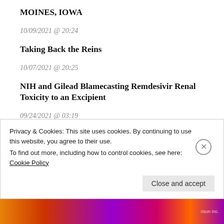MOINES, IOWA
10/09/2021 @ 20:24
Taking Back the Reins
10/07/2021 @ 20:25
NIH and Gilead Blamecasting Remdesivir Renal Toxicity to an Excipient
09/24/2021 @ 03:19
Assembly Area for Q Tree Outages
09/14/2021 @ 18:37
2021·09·04 Joe Biden Didn't Win Daily Thread
Privacy & Cookies: This site uses cookies. By continuing to use this website, you agree to their use. To find out more, including how to control cookies, see here: Cookie Policy Close and accept